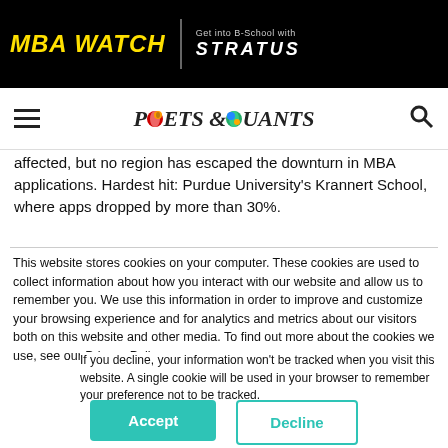MBA WATCH | Get into B-School with STRATUS
[Figure (logo): Poets & Quants logo with hamburger menu and search icon]
affected, but no region has escaped the downturn in MBA applications. Hardest hit: Purdue University's Krannert School, where apps dropped by more than 30%.
This website stores cookies on your computer. These cookies are used to collect information about how you interact with our website and allow us to remember you. We use this information in order to improve and customize your browsing experience and for analytics and metrics about our visitors both on this website and other media. To find out more about the cookies we use, see our Privacy Policy.
If you decline, your information won't be tracked when you visit this website. A single cookie will be used in your browser to remember your preference not to be tracked.